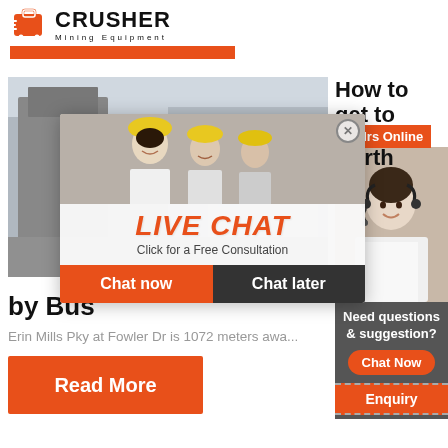[Figure (logo): Crusher Mining Equipment logo with red shopping bag icon and bold CRUSHER text]
[Figure (photo): Industrial crusher/mining equipment facility exterior with large grey metal structures]
How to get to North
[Figure (photo): Customer service representative with headset, 24Hrs Online banner]
[Figure (infographic): Live Chat overlay popup with workers in hard hats, LIVE CHAT title, Click for a Free Consultation subtitle, Chat now and Chat later buttons]
by Bus
Erin Mills Pky at Fowler Dr is 1072 meters awa...
[Figure (infographic): Right sidebar: Need questions & suggestion? Chat Now button, Enquiry section, limingjlmofen@sina.com email]
[Figure (other): Read More orange button]